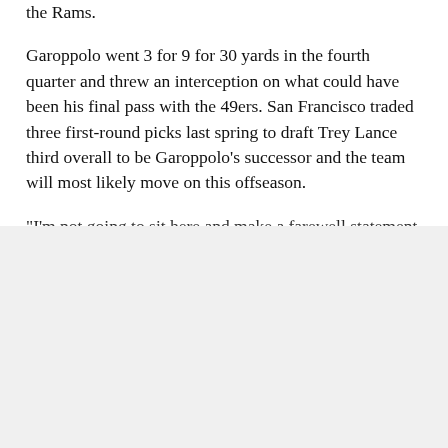the Rams.
Garoppolo went 3 for 9 for 30 yards in the fourth quarter and threw an interception on what could have been his final pass with the 49ers. San Francisco traded three first-round picks last spring to draft Trey Lance third overall to be Garoppolo’s successor and the team will most likely move on this offseason.
“I’m not going to sit here and make a farewell statement or anything right now, that’s the last stuff on my mind.” coach Kyle Shanahan said after the
We use cookies to personalize content and ads, to provide social media features and to analyze our traffic. We also share information about your use of our site with our social media, advertising and analytics partners. Privacy Policy
Cookies Settings
Accept All Cookies